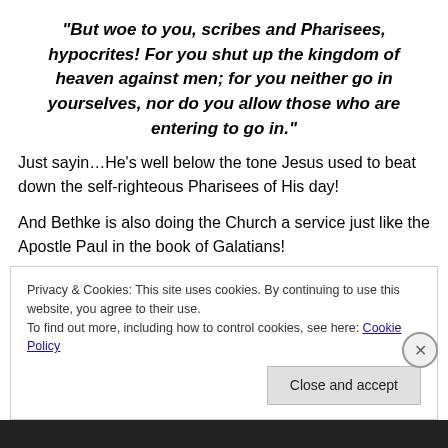“But woe to you, scribes and Pharisees, hypocrites! For you shut up the kingdom of heaven against men; for you neither go in yourselves, nor do you allow those who are entering to go in.”
Just sayin…He’s well below the tone Jesus used to beat down the self-righteous Pharisees of His day!
And Bethke is also doing the Church a service just like the Apostle Paul in the book of Galatians!
Only Bethke is milder than Paul too! Like in Gal.1:6
Privacy & Cookies: This site uses cookies. By continuing to use this website, you agree to their use.
To find out more, including how to control cookies, see here: Cookie Policy
Close and accept